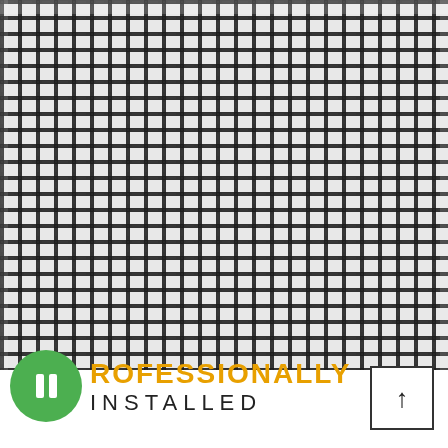[Figure (photo): Close-up photograph of a black woven wire mesh/screen material filling most of the upper portion of the image, with a regular grid pattern of square openings.]
PROFESSIONALLY INSTALLED
[Figure (illustration): Small square box icon containing an upward-pointing arrow, indicating product orientation.]